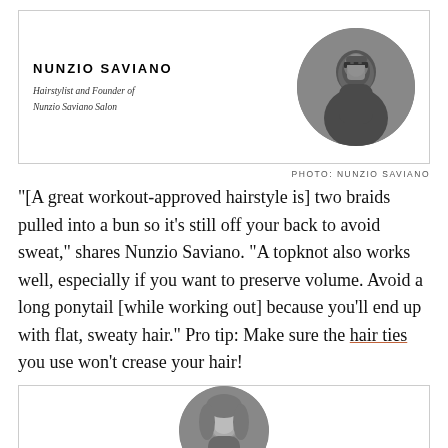[Figure (photo): Circular black-and-white headshot of Nunzio Saviano, a man in glasses and dark jacket]
NUNZIO SAVIANO
Hairstylist and Founder of Nunzio Saviano Salon
PHOTO: NUNZIO SAVIANO
“[A great workout-approved hairstyle is] two braids pulled into a bun so it’s still off your back to avoid sweat,” shares Nunzio Saviano. “A topknot also works well, especially if you want to preserve volume. Avoid a long ponytail [while working out] because you’ll end up with flat, sweaty hair.” Pro tip: Make sure the hair ties you use won't crease your hair!
[Figure (photo): Circular black-and-white headshot of a woman with long hair, partially visible at bottom of page]